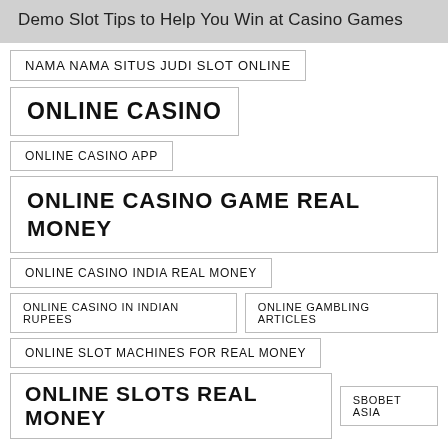Demo Slot Tips to Help You Win at Casino Games
NAMA NAMA SITUS JUDI SLOT ONLINE
ONLINE CASINO
ONLINE CASINO APP
ONLINE CASINO GAME REAL MONEY
ONLINE CASINO INDIA REAL MONEY
ONLINE CASINO IN INDIAN RUPEES
ONLINE GAMBLING ARTICLES
ONLINE SLOT MACHINES FOR REAL MONEY
ONLINE SLOTS REAL MONEY
SBOBET ASIA